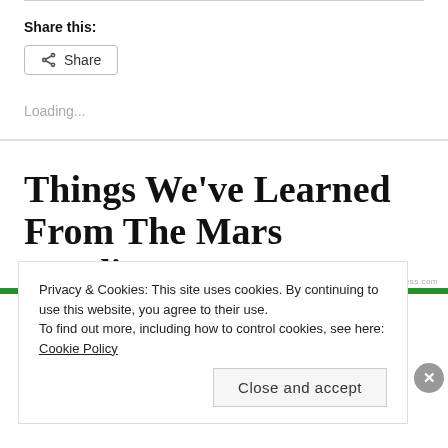Share this:
Share
Loading...
Things We've Learned From The Mars Landing
Privacy & Cookies: This site uses cookies. By continuing to use this website, you agree to their use.
To find out more, including how to control cookies, see here: Cookie Policy
Close and accept